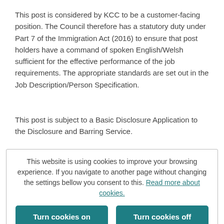This post is considered by KCC to be a customer-facing position. The Council therefore has a statutory duty under Part 7 of the Immigration Act (2016) to ensure that post holders have a command of spoken English/Welsh sufficient for the effective performance of the job requirements. The appropriate standards are set out in the Job Description/Person Specification.
This post is subject to a Basic Disclosure Application to the Disclosure and Barring Service.
This website is using cookies to improve your browsing experience. If you navigate to another page without changing the settings bellow you consent to this. Read more about cookies.